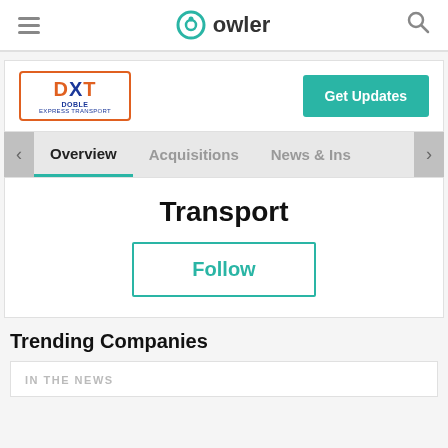owler
[Figure (logo): DXT Doble Express Transport logo - orange bordered rectangle with blue DXT text]
Get Updates
Overview   Acquisitions   News & Ins
Transport
Follow
Trending Companies
IN THE NEWS